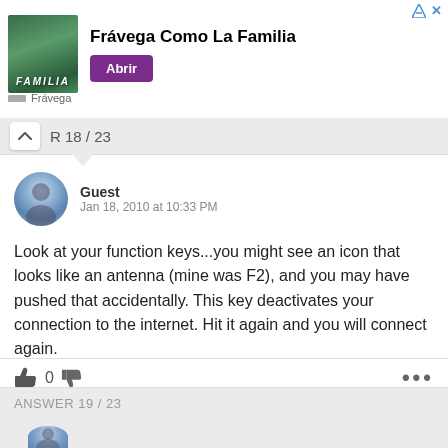[Figure (other): Advertisement banner for Frávega Como La Familia with image of people and purple Abrir button]
ANSWER 18 / 23
Guest
Jan 18, 2010 at 10:33 PM
Look at your function keys...you might see an icon that looks like an antenna (mine was F2), and you may have pushed that accidentally. This key deactivates your connection to the internet. Hit it again and you will connect again.
0
ANSWER 19 / 23